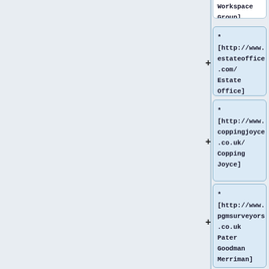Workspace Group]
Workspace Group]
* [http://www.estateoffice.com/ Estate Office]
* [http://www.coppingjoyce.co.uk/ Copping Joyce]
* [http://www.pgmsurveyors.co.uk Pater Goodman Merriman]